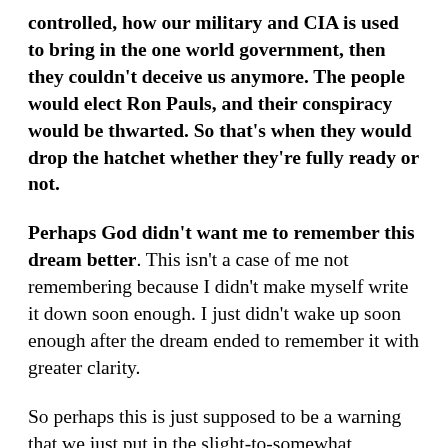controlled, how our military and CIA is used to bring in the one world government, then they couldn't deceive us anymore. The people would elect Ron Pauls, and their conspiracy would be thwarted. So that's when they would drop the hatchet whether they're fully ready or not.
Perhaps God didn't want me to remember this dream better. This isn't a case of me not remembering because I didn't make myself write it down soon enough. I just didn't wake up soon enough after the dream ended to remember it with greater clarity.
So perhaps this is just supposed to be a warning that we just put in the slight-to-somewhat probability category,